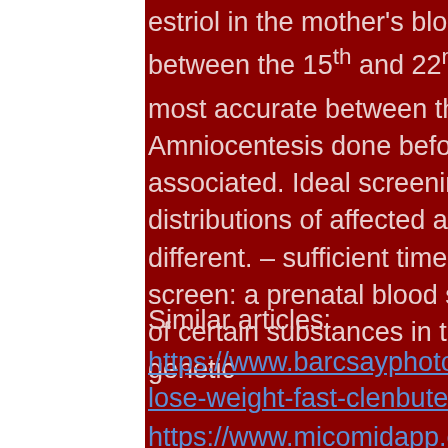estriol in the mother's blood. — this test is most often done between the 15th and 22nd weeks of the pregnancy. It is most accurate between the 16th and 18th weeks. Amniocentesis done before week 15 of pregnancy has been associated. Ideal screening time is 16-18 weeks. – afp mom distributions of affected and unaffected are maximally different. – sufficient time for follow-up tests. — quadruple screen: a prenatal blood screening that tests for the levels of certain substances in the bloodstream that might indicate genetic
Similar articles:
https://www.barcsayphotography.com/profile/clenbuterol-lose-weight-fast-clenbutero-9615/profile
https://www.micomidapp.com/profile/is-clenbuterol-dangerous-for-weight-loss-8511/profile